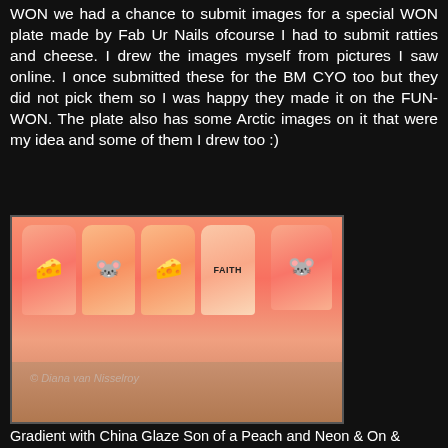WON we had a chance to submit images for a special WON plate made by Fab Ur Nails ofcourse I had to submit ratties and cheese. I drew the images myself from pictures I saw online. I once submitted these for the BM CYO too but they did not pick them so I was happy they made it on the FUN-WON. The plate also has some Arctic images on it that were my idea and some of them I drew too :)
[Figure (photo): Close-up photo of painted fingernails with a coral/peach gradient. Nails feature stamped images: cheese wedge, rat/mouse face, cheese, 'FAITH' text, and a rat/mouse face. Watermark reads '© Diana van Nisselroy'.]
Gradient with China Glaze Son of a Peach and Neon & On &